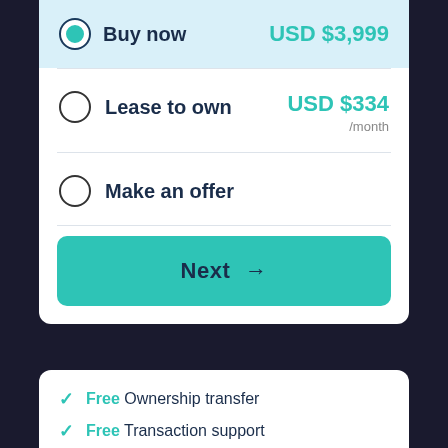Buy now — USD $3,999
Lease to own — USD $334 /month
Make an offer
Next →
Free Ownership transfer
Free Transaction support
Secure payments